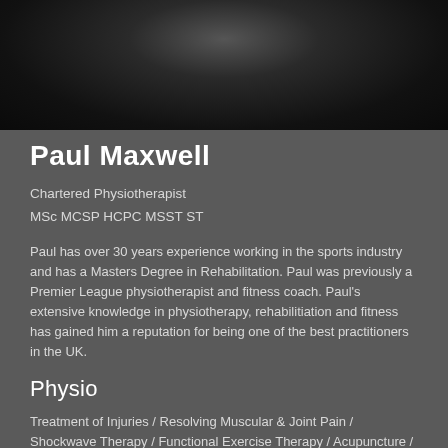[Figure (photo): Dark artistic portrait photograph of a person, showing muscular form against a dark background]
Paul Maxwell
Chartered Physiotherapist
MSc MCSP HCPC MSST ST
Paul has over 30 years experience working in the sports industry and has a Masters Degree in Rehabilitation. Paul was previously a Premier League physiotherapist and fitness coach. Paul's extensive knowledge in physiotherapy, rehabilitiation and fitness has gained him a reputation for being one of the best practitioners in the UK.
Physio
Treatment of Injuries / Resolving Muscular & Joint Pain / Shockwave Therapy / Functional Exercise Therapy / Acupuncture / Dry Needling / Massage